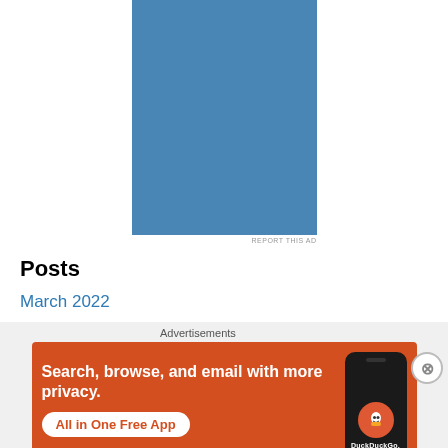[Figure (other): Blue rectangle advertisement placeholder]
REPORT THIS AD
Posts
March 2022
Advertisements
[Figure (other): DuckDuckGo advertisement: Search, browse, and email with more privacy. All in One Free App. Shows phone with DuckDuckGo logo.]
REPORT THIS AD